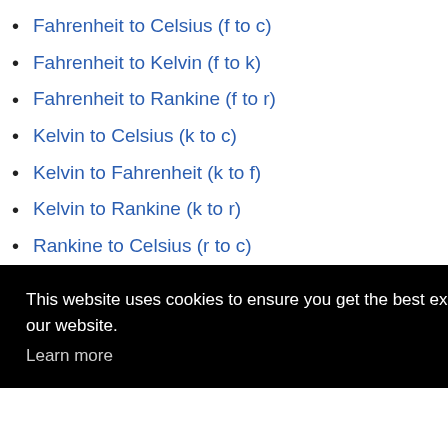Fahrenheit to Celsius (f to c)
Fahrenheit to Kelvin (f to k)
Fahrenheit to Rankine (f to r)
Kelvin to Celsius (k to c)
Kelvin to Fahrenheit (k to f)
Kelvin to Rankine (k to r)
Rankine to Celsius (r to c)
This website uses cookies to ensure you get the best experience on our website. Learn more